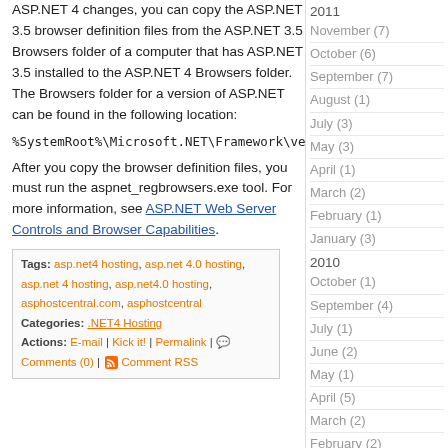ASP.NET 4 changes, you can copy the ASP.NET 3.5 browser definition files from the ASP.NET 3.5 Browsers folder of a computer that has ASP.NET 3.5 installed to the ASP.NET 4 Browsers folder. The Browsers folder for a version of ASP.NET can be found in the following location:
After you copy the browser definition files, you must run the aspnet_regbrowsers.exe tool. For more information, see ASP.NET Web Server Controls and Browser Capabilities.
Tags: asp.net4 hosting, asp.net 4.0 hosting, asp.net 4 hosting, asp.net4.0 hosting, asphostcentral.com, asphostcentral
Categories: .NET4 Hosting
Actions: E-mail | Kick it! | Permalink | Comments (0) | Comment RSS
2011
November (7)
October (6)
September (7)
August (1)
July (3)
May (3)
April (1)
March (2)
February (1)
January (3)
2010
October (1)
September (4)
July (1)
June (2)
May (1)
April (5)
March (2)
February (2)